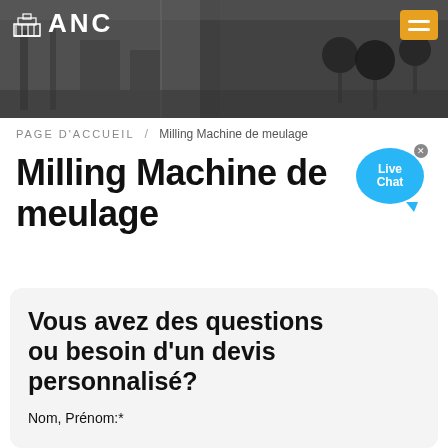[Figure (photo): Industrial workshop header photo with ANC logo and orange hamburger menu button]
PAGE D'ACCUEIL / Milling Machine de meulage
Milling Machine de meulage
[Figure (other): Live Chat bubble icon in blue]
Vous avez des questions ou besoin d'un devis personnalisé?
Nom, Prénom:*